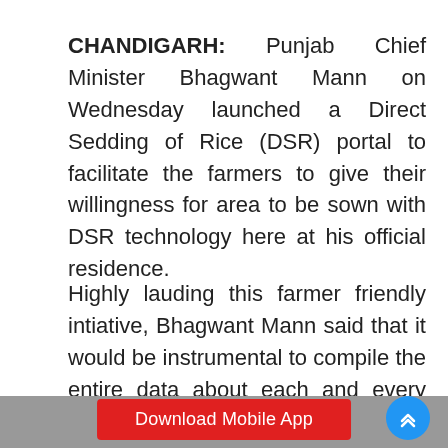CHANDIGARH: Punjab Chief Minister Bhagwant Mann on Wednesday launched a Direct Sedding of Rice (DSR) portal to facilitate the farmers to give their willingness for area to be sown with DSR technology here at his official residence.
Highly lauding this farmer friendly intiative, Bhagwant Mann said that it would be instrumental to compile the entire data about each and every farmer, who has opted for DSR technique besides ensuring payment of Rs. 1500 per acre after proper verification through this portal to the genuine fair and